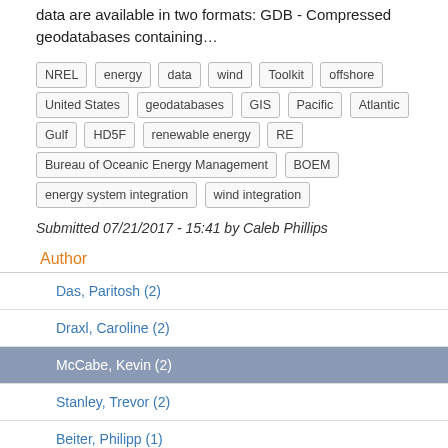data are available in two formats: GDB - Compressed geodatabases containing…
NREL energy data wind Toolkit offshore United States geodatabases GIS Pacific Atlantic Gulf HD5F renewable energy RE Bureau of Oceanic Energy Management BOEM energy system integration wind integration
Submitted 07/21/2017 - 15:41 by Caleb Phillips
Author
Das, Paritosh (2)
Draxl, Caroline (2)
McCabe, Kevin (2)
Stanley, Trevor (2)
Beiter, Philipp (1)
Keller, Jonathan (1)